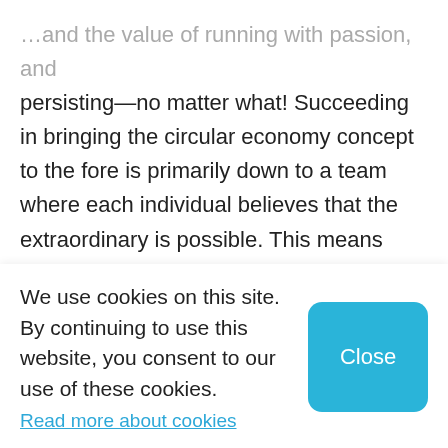…and the value of running with passion, and persisting—no matter what! Succeeding in bringing the circular economy concept to the fore is primarily down to a team where each individual believes that the extraordinary is possible. This means working with perseverance and dedication, thriving on challenges and not being afraid to be a lone voice. All these skills are key to achieving a goal—big or small. And the
We use cookies on this site. By continuing to use this website, you consent to our use of these cookies.
Read more about cookies